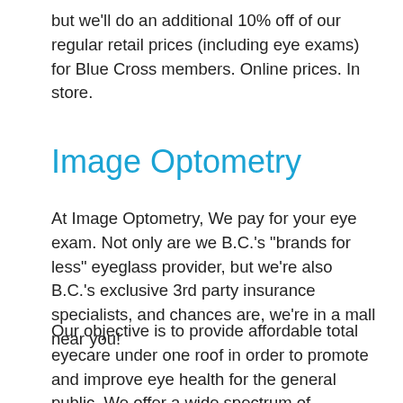but we'll do an additional 10% off of our regular retail prices (including eye exams) for Blue Cross members. Online prices. In store.
Image Optometry
At Image Optometry, We pay for your eye exam. Not only are we B.C.'s "brands for less" eyeglass provider, but we're also B.C.'s exclusive 3rd party insurance specialists, and chances are, we're in a mall near you!
Our objective is to provide affordable total eyecare under one roof in order to promote and improve eye health for the general public. We offer a wide spectrum of services and products covering opticianry, optometry and ophthalmology, which includes fabricating, repairing and fitting eyeglasses